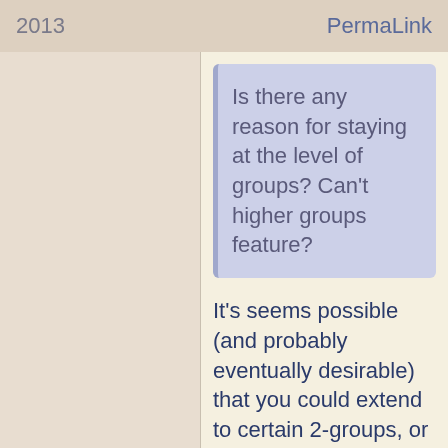2013   PermaLink
Is there any reason for staying at the level of groups? Can't higher groups feature?
It's seems possible (and probably eventually desirable) that you could extend to certain 2-groups, or more.
The word compact seems somewhat crucial here, it turns out. Though you can make some very general definitions for an arbitrary class of groups, a lot of the